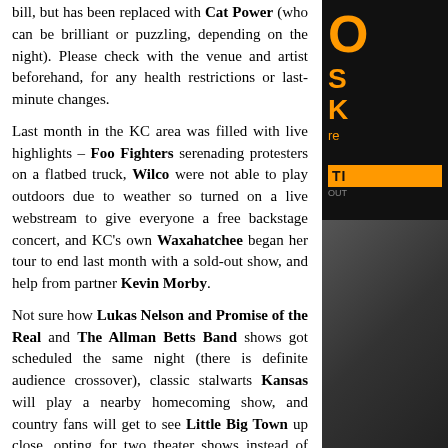bill, but has been replaced with Cat Power (who can be brilliant or puzzling, depending on the night). Please check with the venue and artist beforehand, for any health restrictions or last-minute changes.
Last month in the KC area was filled with live highlights – Foo Fighters serenading protesters on a flatbed truck, Wilco were not able to play outdoors due to weather so turned on a live webstream to give everyone a free backstage concert, and KC's own Waxahatchee began her tour to end last month with a sold-out show, and help from partner Kevin Morby.
Not sure how Lukas Nelson and Promise of the Real and The Allman Betts Band shows got scheduled the same night (there is definite audience crossover), classic stalwarts Kansas will play a nearby homecoming show, and country fans will get to see Little Big Town up close, opting for two theater shows instead of one big arena gig.
Here's what's happening in the area for the last half of September
(a few recommended shows are highlighted below):
Thursday September 16
Dance Gavin Dance with Animals As Leaders and more, Arvest Bank Theatre at the Midland. $27.50-$35
Kane Brown w Restless Road, Chris Lane, Russell Dickerson, T-